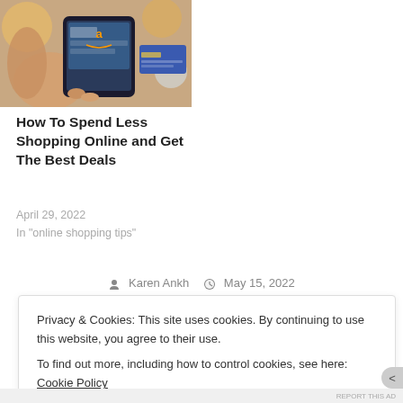[Figure (photo): Person holding a smartphone showing an online shopping app, with a blue credit card visible in the background]
How To Spend Less Shopping Online and Get The Best Deals
April 29, 2022
In "online shopping tips"
Karen Ankh   May 15, 2022
Privacy & Cookies: This site uses cookies. By continuing to use this website, you agree to their use.
To find out more, including how to control cookies, see here: Cookie Policy
Close and accept